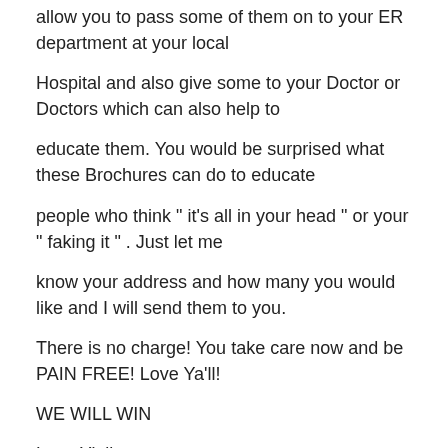allow you to pass some of them on to your ER department at your local
Hospital and also give some to your Doctor or Doctors which can also help to
educate them. You would be surprised what these Brochures can do to educate
people who think " it's all in your head " or your " faking it " . Just let me
know your address and how many you would like and I will send them to you.
There is no charge! You take care now and be PAIN FREE! Love Ya'll!
WE WILL WIN
Love Y'all
" NEVER FIGHT FAIR "
Carole & Bob
Panama City, FL 32404
Please visit the International Stills Disease Foundation Inc. web site at: